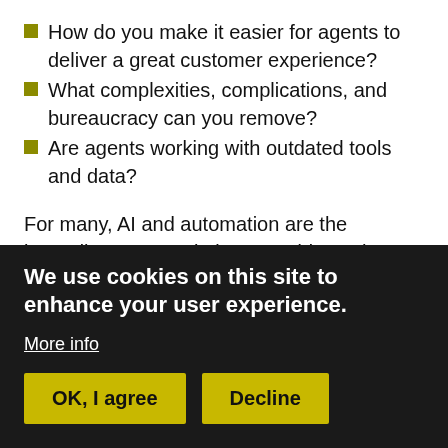How do you make it easier for agents to deliver a great customer experience?
What complexities, complications, and bureaucracy can you remove?
Are agents working with outdated tools and data?
For many, AI and automation are the immediate go-to solutions to address these questions and to reduce both agent and customer effort. That’s not wrong, but you’ve got to do some due diligence to ensure that you’ll not only acquire the correct technology but also use that technology efficiently and effectively, so as not
We use cookies on this site to enhance your user experience.
More info
OK, I agree
Decline